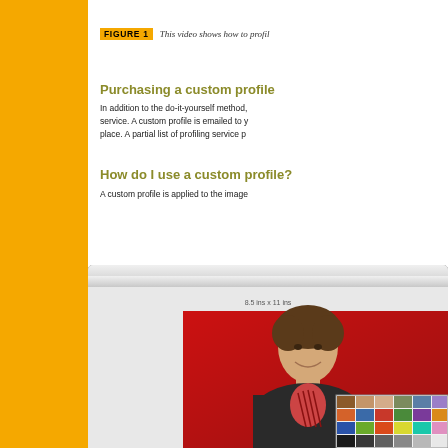FIGURE 1   This video shows how to profile...
Purchasing a custom profile
In addition to the do-it-yourself method, you can also purchase a profiling service. A custom profile is emailed to you, ready to put in place. A partial list of profiling service p...
How do I use a custom profile?
A custom profile is applied to the image...
[Figure (screenshot): Screenshot of a photo editing application showing a portrait photo of a young man holding a color calibration chart, against a red background. The interface shows dimensions 8.5 ins x 11 ins.]